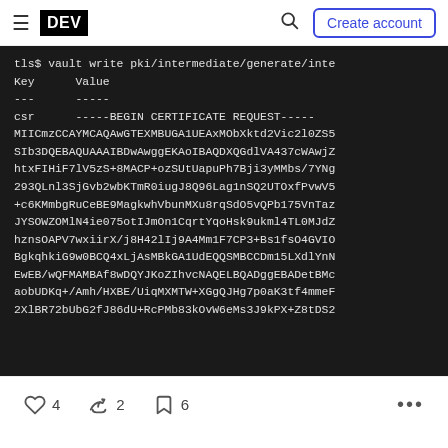DEV — Create account
[Figure (screenshot): Terminal/code block showing vault PKI command output with a CSR certificate request in base64 encoded format on dark background]
4 likes, 2 reactions, 6 bookmarks